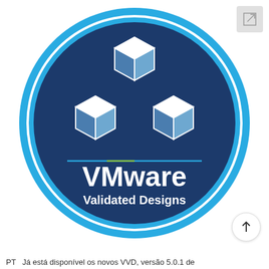[Figure (logo): VMware Validated Designs circular badge/logo. Dark navy blue circle with a cyan/light-blue outer ring. Inside: three interconnected hexagonal cube outlines arranged in a triangular formation (white outline cubes with blue fill facets). Below the cubes: a horizontal divider line with green and blue segments. Below that: white text 'VMware' (large) and 'Validated Designs' (smaller, bold). Top right corner shows a small gray square icon with an arrow. Bottom right shows an upward arrow button.]
PT   Já está disponível os novos VVD, versão 5.0.1 de